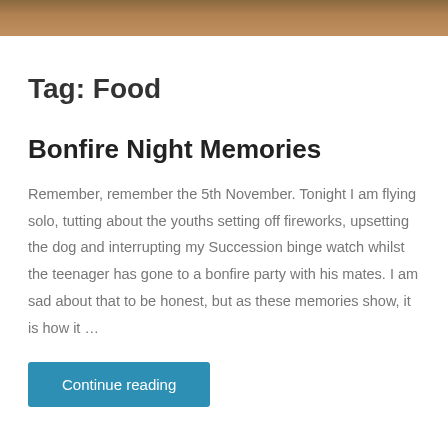[Figure (photo): Top portion of a photo, showing warm brown tones, likely food or autumn scene]
Tag: Food
Bonfire Night Memories
Remember, remember the 5th November. Tonight I am flying solo, tutting about the youths setting off fireworks, upsetting the dog and interrupting my Succession binge watch whilst the teenager has gone to a bonfire party with his mates. I am sad about that to be honest, but as these memories show, it is how it …
Continue reading